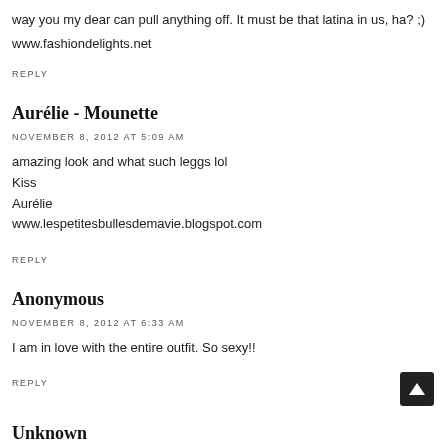way you my dear can pull anything off. It must be that latina in us, ha? ;)
www.fashiondelights.net
REPLY
Aurélie - Mounette
NOVEMBER 8, 2012 AT 5:09 AM
amazing look and what such leggs lol
Kiss
Aurélie
www.lespetitesbullesdemavie.blogspot.com
REPLY
Anonymous
NOVEMBER 8, 2012 AT 6:33 AM
I am in love with the entire outfit. So sexy!!
REPLY
Unknown